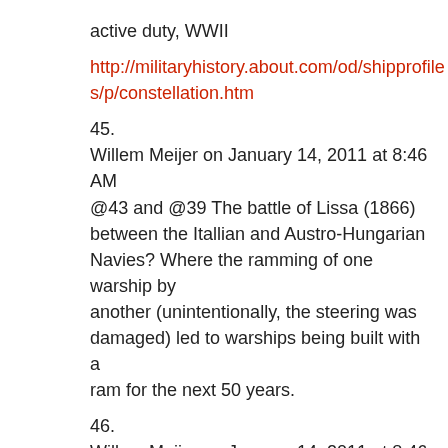active duty, WWII
http://militaryhistory.about.com/od/shipprofiles/p/constellation.htm
45.
Willem Meijer on January 14, 2011 at 8:46 AM
@43 and @39 The battle of Lissa (1866) between the Itallian and Austro-Hungarian Navies? Where the ramming of one warship by another (unintentionally, the steering was damaged) led to warships being built with a ram for the next 50 years.
46.
Willem Meijer on January 14, 2011 at 8:46 AM
@45 Quite useless rams by the way
47.
Willem Meijer on January 14, 2011 at 9:38 AM
@45 strike the unintentional bit. I was wrong…